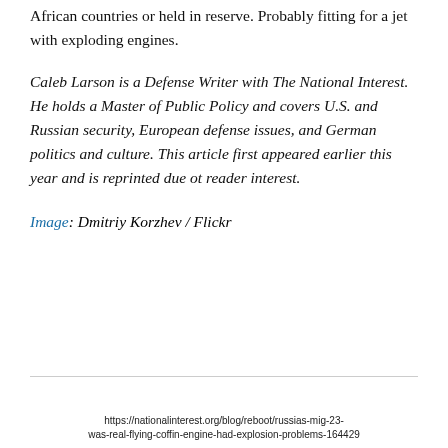African countries or held in reserve. Probably fitting for a jet with exploding engines.
Caleb Larson is a Defense Writer with The National Interest. He holds a Master of Public Policy and covers U.S. and Russian security, European defense issues, and German politics and culture. This article first appeared earlier this year and is reprinted due ot reader interest.
Image: Dmitriy Korzhev / Flickr
https://nationalinterest.org/blog/reboot/russias-mig-23-was-real-flying-coffin-engine-had-explosion-problems-164429